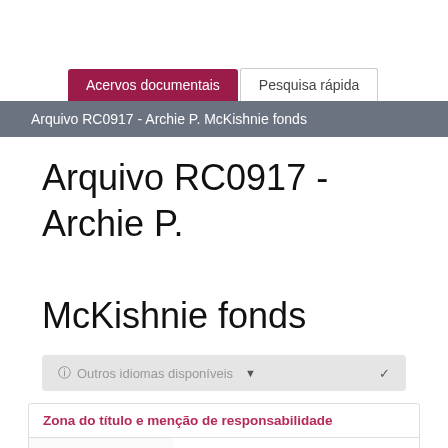Acervos documentais  Pesquisa rápida
Arquivo RC0917 - Archie P. McKishnie fonds
Arquivo RC0917 - Archie P. McKishnie fonds
Outros idiomas disponíveis
|  |  |
| --- | --- |
| Título próprio | Archie P. McKishnie fonds |
| Designação geral do | • Documento textual |